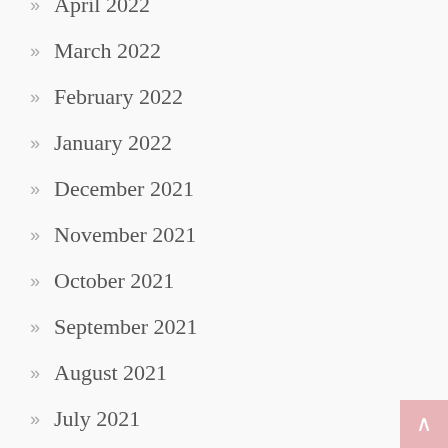April 2022
March 2022
February 2022
January 2022
December 2021
November 2021
October 2021
September 2021
August 2021
July 2021